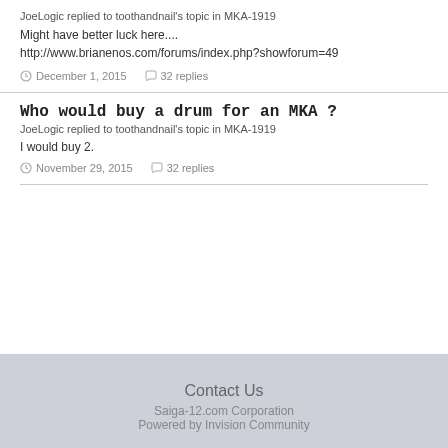JoeLogic replied to toothandnail's topic in MKA-1919
Might have better luck here....
http://www.brianenos.com/forums/index.php?showforum=49
December 1, 2015  32 replies
Who would buy a drum for an MKA ?
JoeLogic replied to toothandnail's topic in MKA-1919
I would buy 2.
November 29, 2015  32 replies
Contact Us
Saiga-12.com Corporation
Powered by Invision Community